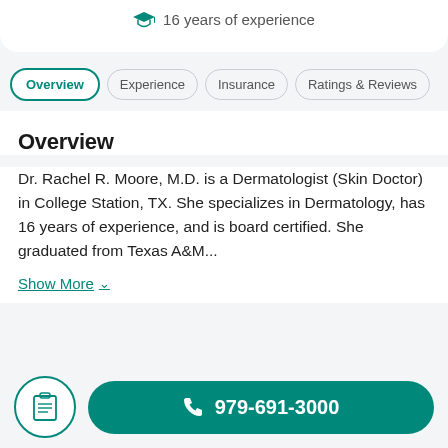16 years of experience
Overview
Experience
Insurance
Ratings & Reviews
Overview
Dr. Rachel R. Moore, M.D. is a Dermatologist (Skin Doctor) in College Station, TX. She specializes in Dermatology, has 16 years of experience, and is board certified. She graduated from Texas A&M...
Show More
979-691-3000